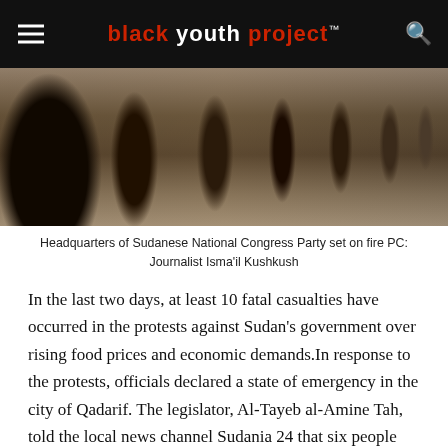black youth project™
[Figure (photo): Crowd of people viewed from behind, standing outdoors near buildings, associated with protests at the Headquarters of Sudanese National Congress Party set on fire.]
Headquarters of Sudanese National Congress Party set on fire PC: Journalist Isma'il Kushkush
In the last two days, at least 10 fatal casualties have occurred in the protests against Sudan's government over rising food prices and economic demands. In response to the protests, officials declared a state of emergency in the city of Qadarif. The legislator, Al-Tayeb al-Amine Tah, told the local news channel Sudania 24 that six people were killed by Qadarif police.